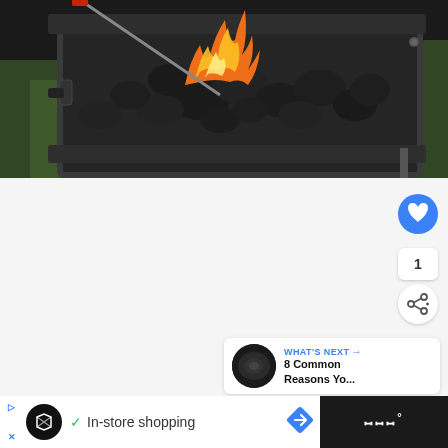[Figure (photo): Close-up photo of a charcoal grill with black charcoal briquettes and orange and yellow flames, being lit with a long lighter. The grill is dark/black metal, set outdoors with green foliage visible in the background.]
[Figure (screenshot): Web page UI elements: a blue circular heart/like button, a count showing '1', a white circular share button with share icon, and a 'WHAT'S NEXT' recommendation card showing a thumbnail and text '8 Common Reasons Yo...']
1
WHAT'S NEXT →
8 Common Reasons Yo...
[Figure (screenshot): Advertisement bar at the bottom showing a black circle logo icon, a blue 'D>' and 'X' close button, a checkmark and 'In-store shopping' text, a blue diamond navigation icon, and a dark right panel with 'III°' text.]
In-store shopping